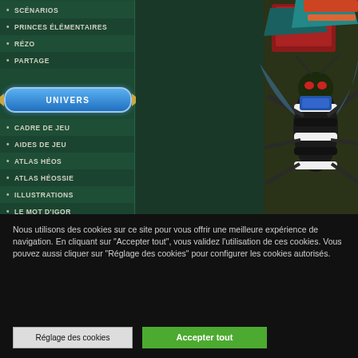SCÉNARIOS
PRINCES ÉLÉMENTAIRES
RÉZO
PARTAGE
UNIVERS
CADRE DE JEU
AIDES DE JEU
ATLAS HÉOS
ATLAS HÉOSSIE
ILLUSTRATIONS
LE MOT D'IGOR
[Figure (illustration): Fantasy illustration of an insect/warrior figure with colorful armor on a dark green and dark background]
Nous utilisons des cookies sur ce site pour vous offrir une meilleure expérience de navigation. En cliquant sur "Accepter tout", vous validez l'utilisation de ces cookies. Vous pouvez aussi cliquer sur "Réglage des cookies" pour configurer les cookies autorisés.
Réglage des cookies
Accepter tout